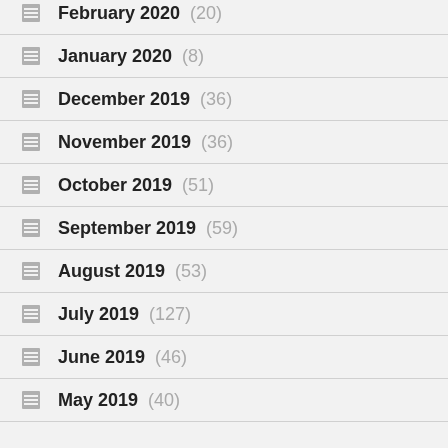February 2020 (20)
January 2020 (8)
December 2019 (36)
November 2019 (36)
October 2019 (51)
September 2019 (59)
August 2019 (53)
July 2019 (127)
June 2019 (46)
May 2019 (40)